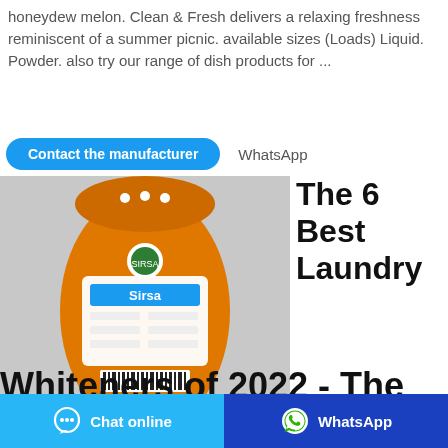honeydew melon. Clean & Fresh delivers a relaxing freshness reminiscent of a summer picnic. available sizes (Loads) Liquid. Powder. also try our range of dish products for ...
Contact the manufacturer   WhatsApp
[Figure (photo): Orange bag of laundry detergent powder (Sirsa brand) on a grey background]
The 6 Best Laundry
Whiteners of 2022 - The
Chat online
WhatsApp